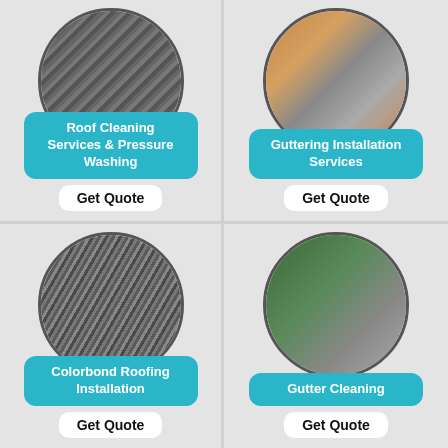[Figure (photo): Circular photo of roof tiles with striped pattern]
Roof Cleaning Services & Pressure Washing
Get Quote
[Figure (photo): Circular photo of guttering/downpipe installation]
Guttering Installation Services
Get Quote
[Figure (photo): Circular photo of Colorbond roofing metal sheets]
Colorbond Roofing Installation
Get Quote
[Figure (photo): Circular photo of person cleaning debris from gutter]
Gutter Cleaning
Get Quote